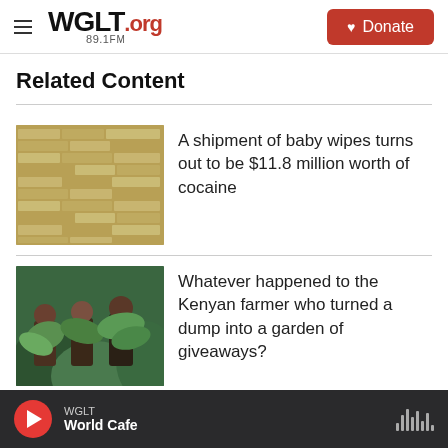WGLT.org 89.1FM | Donate
Related Content
[Figure (photo): Stacked bricks or packaged goods in a warehouse]
A shipment of baby wipes turns out to be $11.8 million worth of cocaine
[Figure (photo): Three people holding large green leafy vegetables outdoors]
Whatever happened to the Kenyan farmer who turned a dump into a garden of giveaways?
WGLT World Cafe